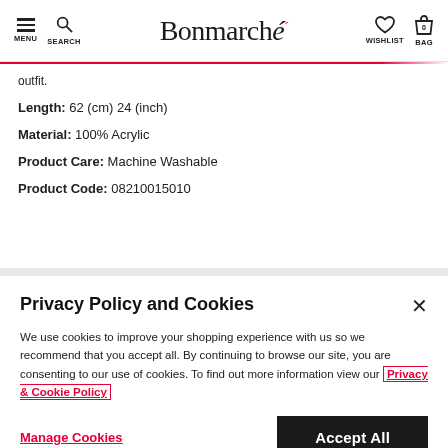MENU | SEARCH | Bonmarché | WISHLIST | BAG 0
outfit.
Length: 62 (cm) 24 (inch)
Material: 100% Acrylic
Product Care: Machine Washable
Product Code: 08210015010
Privacy Policy and Cookies
We use cookies to improve your shopping experience with us so we recommend that you accept all. By continuing to browse our site, you are consenting to our use of cookies. To find out more information view our Privacy & Cookie Policy
Manage Cookies
Accept All